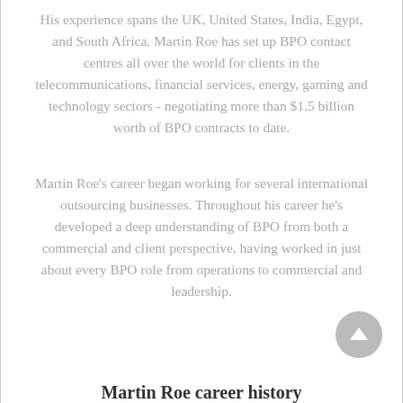His experience spans the UK, United States, India, Egypt, and South Africa. Martin Roe has set up BPO contact centres all over the world for clients in the telecommunications, financial services, energy, gaming and technology sectors - negotiating more than $1.5 billion worth of BPO contracts to date.
Martin Roe's career began working for several international outsourcing businesses. Throughout his career he's developed a deep understanding of BPO from both a commercial and client perspective, having worked in just about every BPO role from operations to commercial and leadership.
Martin Roe career history